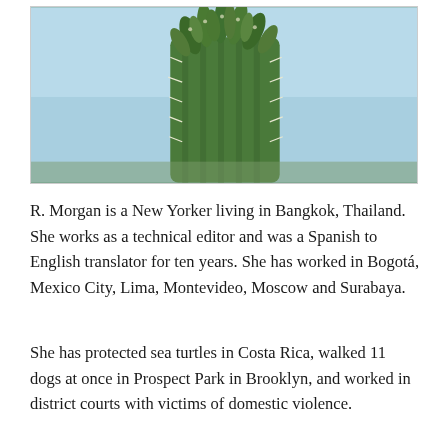[Figure (photo): Close-up photograph of a large cactus with many green buds/offshoots growing from its top, against a light blue sky background.]
R. Morgan is a New Yorker living in Bangkok, Thailand. She works as a technical editor and was a Spanish to English translator for ten years. She has worked in Bogotá, Mexico City, Lima, Montevideo, Moscow and Surabaya.
She has protected sea turtles in Costa Rica, walked 11 dogs at once in Prospect Park in Brooklyn, and worked in district courts with victims of domestic violence.